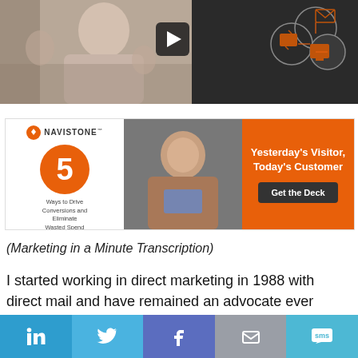[Figure (screenshot): Video thumbnail showing a woman presenting with hands gesturing, alongside marketing icons on a dark background, with a play button overlay]
[Figure (infographic): NaviStone advertisement banner: '5 Ways to Drive Conversions and Eliminate Wasted Spend', Yesterday's Visitor, Today's Customer, Get the Deck]
(Marketing in a Minute Transcription)
I started working in direct marketing in 1988 with direct mail and have remained an advocate ever since.
[Figure (infographic): Social sharing bar with LinkedIn, Twitter, Facebook, Email, and SMS buttons]